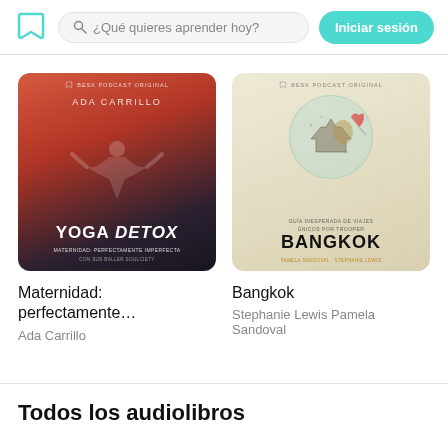¿Qué quieres aprender hoy? | Iniciar sesión
[Figure (illustration): Besk podcast original cover art for 'Yoga Detox - Maternidad: perfectamente imperfecta' by Ada Carrillo. Woman doing yoga pose with arms spread, red/dark mountain background.]
Maternidad:
perfectamente…
Ada Carrillo
[Figure (illustration): Besk podcast original cover art for Bangkok travel guide by Pamela Sandoval and Stephanie Lewis. Circular illustration with Bangkok temples and Buddha, heart pin graphic, beige background.]
Bangkok
Stephanie Lewis Pamela
Sandoval
Todos los audiolibros